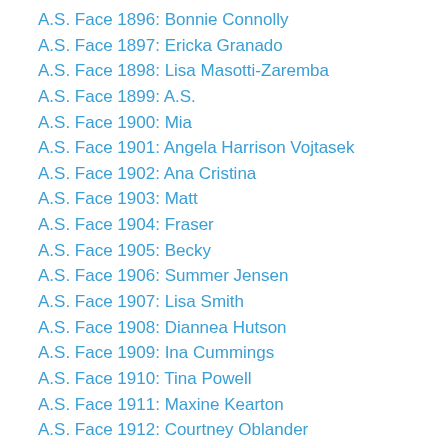A.S. Face 1896: Bonnie Connolly
A.S. Face 1897: Ericka Granado
A.S. Face 1898: Lisa Masotti-Zaremba
A.S. Face 1899: A.S.
A.S. Face 1900: Mia
A.S. Face 1901: Angela Harrison Vojtasek
A.S. Face 1902: Ana Cristina
A.S. Face 1903: Matt
A.S. Face 1904: Fraser
A.S. Face 1905: Becky
A.S. Face 1906: Summer Jensen
A.S. Face 1907: Lisa Smith
A.S. Face 1908: Diannea Hutson
A.S. Face 1909: Ina Cummings
A.S. Face 1910: Tina Powell
A.S. Face 1911: Maxine Kearton
A.S. Face 1912: Courtney Oblander
A.S. Face 1913: Nichole Kemper
A.S. Face 1914: Sara
A.S. Face 1915: Jenifer Wyckoff